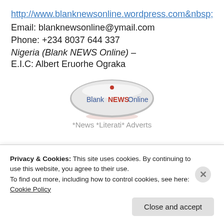http://www.blanknewsonline.wordpress.com&nbsp;
Email: blanknewsonline@ymail.com
Phone: +234 8037 644 337
Nigeria (Blank NEWS Online) –
E.I.C: Albert Eruorhe Ograka
[Figure (logo): Oval silver/gray button logo with text 'Blank NEWS Online' in blue and red styling]
*News *Literati* Adverts
Privacy & Cookies: This site uses cookies. By continuing to use this website, you agree to their use.
To find out more, including how to control cookies, see here: Cookie Policy
Close and accept